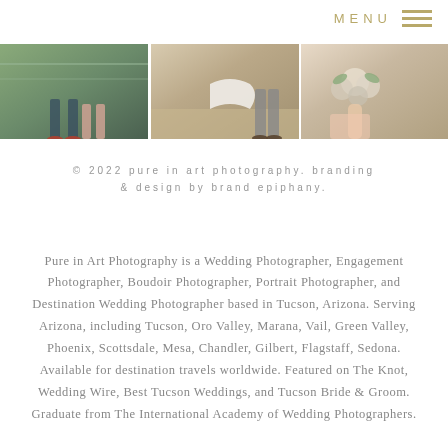MENU
[Figure (photo): Three side-by-side wedding photography images showing couples' feet/lower bodies and a bouquet]
© 2022 pure in art photography. branding & design by brand epiphany.
Pure in Art Photography is a Wedding Photographer, Engagement Photographer, Boudoir Photographer, Portrait Photographer, and Destination Wedding Photographer based in Tucson, Arizona. Serving Arizona, including Tucson, Oro Valley, Marana, Vail, Green Valley, Phoenix, Scottsdale, Mesa, Chandler, Gilbert, Flagstaff, Sedona. Available for destination travels worldwide. Featured on The Knot, Wedding Wire, Best Tucson Weddings, and Tucson Bride & Groom. Graduate from The International Academy of Wedding Photographers.